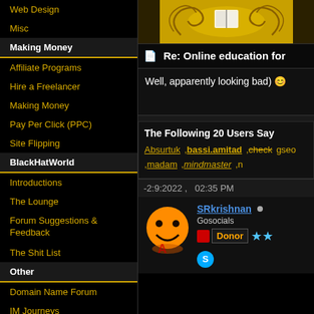Web Design
Misc
Making Money
Affiliate Programs
Hire a Freelancer
Making Money
Pay Per Click (PPC)
Site Flipping
BlackHatWorld
Introductions
The Lounge
Forum Suggestions & Feedback
The Shit List
Other
Domain Name Forum
IM Journeys
Web Hosting
[Figure (illustration): Decorative header image with golden swirling design on yellow/gold background]
Re: Online education for
Well, apparently looking bad) 😊
The Following 20 Users Say
Absurtuk , bassi.amitad , check gseo , madam , mindmaster , n
-2:9:2022 ,   02:35 PM
SRkrishnan
Gosocials
Donor